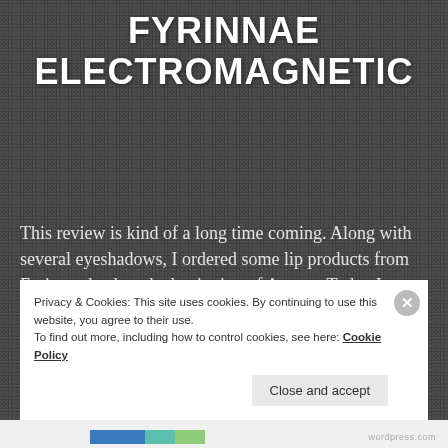FYRINNAE ELECTROMAGNETIC
This review is kind of a long time coming. Along with several eyeshadows, I ordered some lip products from Fyrinnae back at the beginning of August. Today I thought we'd take a look at the Liquid Matte lip color in Electromagnetic. From the Fyrinnae website: Our liquid lipsticks have a matte finish, and some are [...]
Privacy & Cookies: This site uses cookies. By continuing to use this website, you agree to their use.
To find out more, including how to control cookies, see here: Cookie Policy
Close and accept